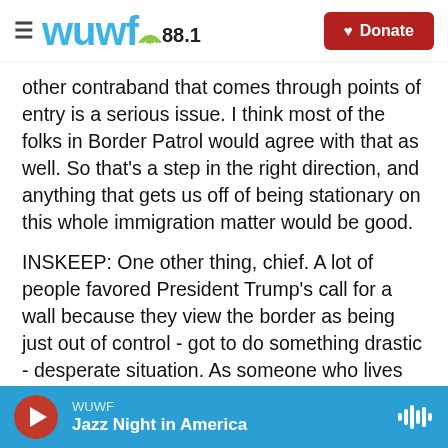WUWF 88.1 | Donate
other contraband that comes through points of entry is a serious issue. I think most of the folks in Border Patrol would agree with that as well. So that's a step in the right direction, and anything that gets us off of being stationary on this whole immigration matter would be good.
INSKEEP: One other thing, chief. A lot of people favored President Trump's call for a wall because they view the border as being just out of control - got to do something drastic - desperate situation. As someone who lives and works near the border, does it feel to you like a situation that is out of
WUWF
Jazz Night in America